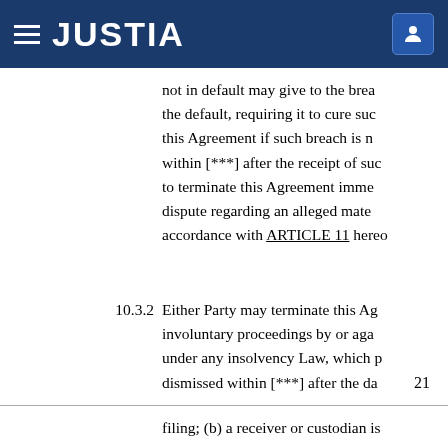JUSTIA
not in default may give to the brea the default, requiring it to cure suc this Agreement if such breach is n within [***] after the receipt of suc to terminate this Agreement imme dispute regarding an alleged mate accordance with ARTICLE 11 hereo
10.3.2 Either Party may terminate this Ag involuntary proceedings by or aga under any insolvency Law, which p dismissed within [***] after the da
21
filing; (b) a receiver or custodian is